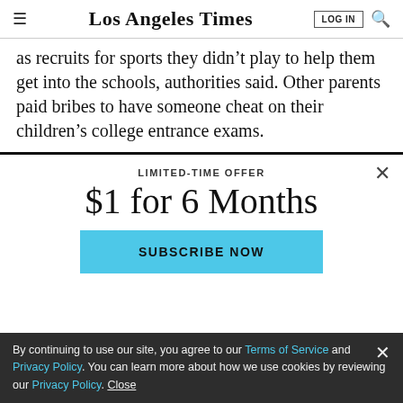Los Angeles Times
as recruits for sports they didn't play to help them get into the schools, authorities said. Other parents paid bribes to have someone cheat on their children's college entrance exams.
LIMITED-TIME OFFER
$1 for 6 Months
SUBSCRIBE NOW
By continuing to use our site, you agree to our Terms of Service and Privacy Policy. You can learn more about how we use cookies by reviewing our Privacy Policy. Close